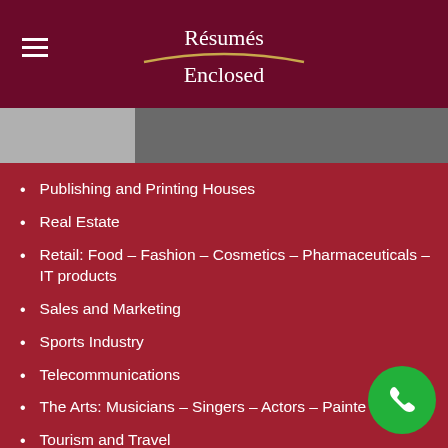Résumés Enclosed
Publishing and Printing Houses
Real Estate
Retail: Food – Fashion – Cosmetics – Pharmaceuticals – IT products
Sales and Marketing
Sports Industry
Telecommunications
The Arts: Musicians – Singers – Actors – Painters
Tourism and Travel
Trades Industry: Carpenters – Plumbers – Electricians